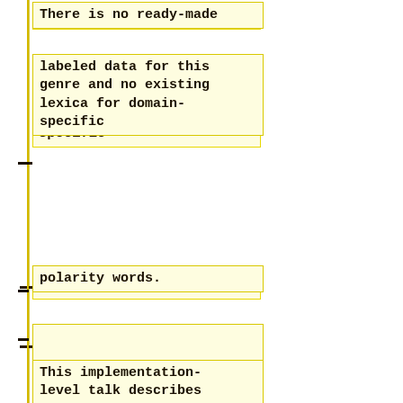There is no ready-made
labeled data for this genre and no existing lexica for domain-specific
polarity words.
This implementation-level talk describes some work in progress in
identifying polarity words in an IT business corpus through
crowdsourcing, identifying some of the challenges found in multiple